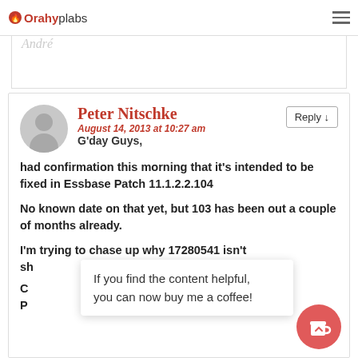Orahyplabs
as well...
Best regards,
André
Peter Nitschke
August 14, 2013 at 10:27 am
G'day Guys,
had confirmation this morning that it's intended to be fixed in Essbase Patch 11.1.2.2.104
No known date on that yet, but 103 has been out a couple of months already.
I'm trying to chase up why 17280541 isn't sh...
If you find the content helpful, you can now buy me a coffee!